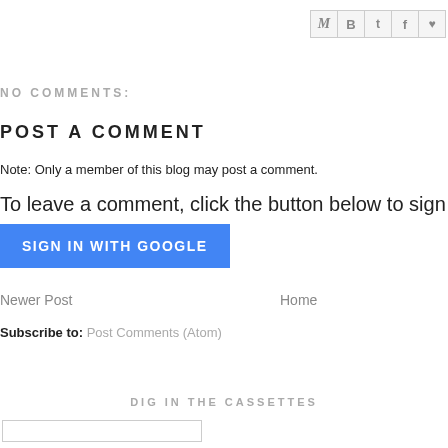[Figure (other): Share icons row: M (Gmail), B (Blogger), t (Twitter), f (Facebook), Pinterest]
NO COMMENTS:
POST A COMMENT
Note: Only a member of this blog may post a comment.
To leave a comment, click the button below to sign in with Goog
[Figure (other): SIGN IN WITH GOOGLE blue button]
Newer Post
Home
Subscribe to: Post Comments (Atom)
DIG IN THE CASSETTES
[Figure (other): Search input box]